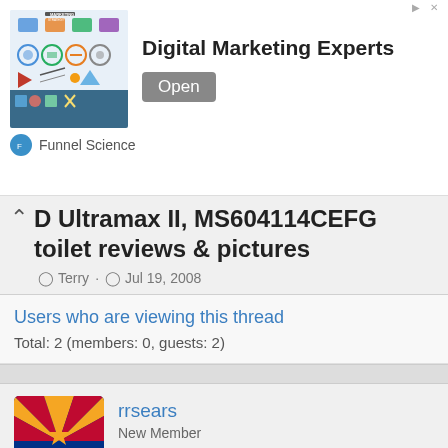[Figure (screenshot): Advertisement banner for Digital Marketing Experts by Funnel Science with an Open button]
D Ultramax II, MS604114CEFG toilet reviews & pictures
Terry · Jul 19, 2008
Users who are viewing this thread
Total: 2 (members: 0, guests: 2)
rrsears
New Member
Sep 3, 2009  #21
Ultramax II Test--Consumer Reports